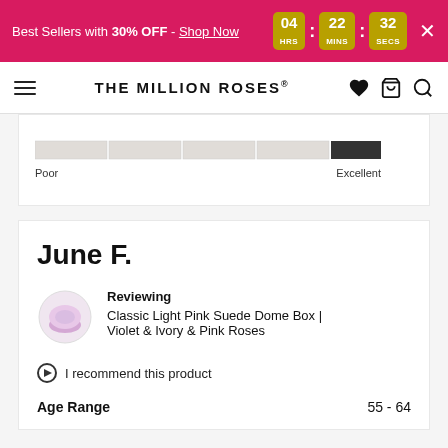Best Sellers with 30% OFF - Shop Now  04 HRS : 22 MINS : 32 SECS  X
THE MILLION ROSES
[Figure (other): Quality rating bar showing scale from Poor to Excellent with marker near Excellent end]
June F.
Reviewing Classic Light Pink Suede Dome Box | Violet & Ivory & Pink Roses
I recommend this product
Age Range  55 - 64